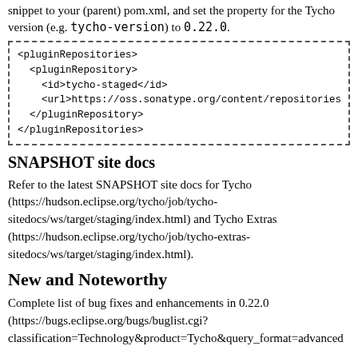snippet to your (parent) pom.xml, and set the property for the Tycho version (e.g. tycho-version) to 0.22.0.
[Figure (screenshot): Dashed-border code box containing XML snippet for pluginRepositories configuration]
SNAPSHOT site docs
Refer to the latest SNAPSHOT site docs for Tycho (https://hudson.eclipse.org/tycho/job/tycho-sitedocs/ws/target/staging/index.html) and Tycho Extras (https://hudson.eclipse.org/tycho/job/tycho-extras-sitedocs/ws/target/staging/index.html).
New and Noteworthy
Complete list of bug fixes and enhancements in 0.22.0 (https://bugs.eclipse.org/bugs/buglist.cgi?classification=Technology&product=Tycho&query_format=advanced